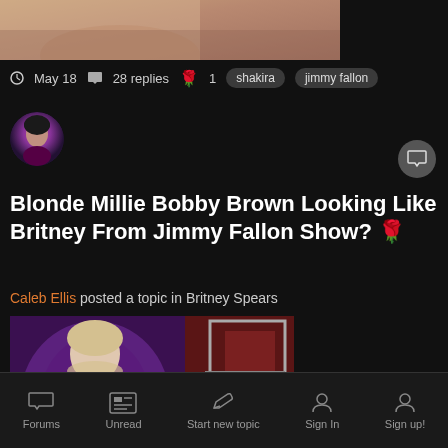[Figure (photo): Partial top photo showing blonde hair and skin, cropped]
May 18  28 replies  🌹 1  shakira  jimmy fallon
[Figure (photo): User avatar - person with dark hair and pink/purple lighting]
Blonde Millie Bobby Brown Looking Like Britney From Jimmy Fallon Show? 🌹
Caleb Ellis posted a topic in Britney Spears
[Figure (photo): Photo of a blonde woman in a purple feathered outfit on what appears to be a TV show set with red curtains and a metal frame structure]
Forums  Unread  Start new topic  Sign In  Sign up!